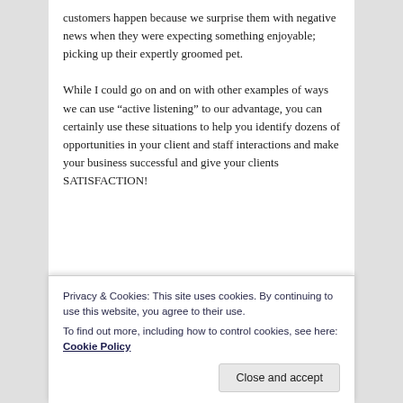customers happen because we surprise them with negative news when they were expecting something enjoyable; picking up their expertly groomed pet.
While I could go on and on with other examples of ways we can use “active listening” to our advantage, you can certainly use these situations to help you identify dozens of opportunities in your client and staff interactions and make your business successful and give your clients SATISFACTION!
Privacy & Cookies: This site uses cookies. By continuing to use this website, you agree to their use.
To find out more, including how to control cookies, see here: Cookie Policy